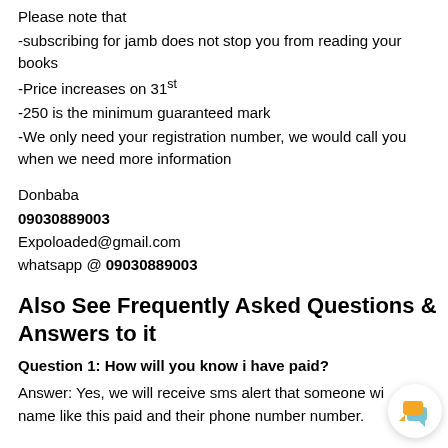Please note that
-subscribing for jamb does not stop you from reading your books
-Price increases on 31st
-250 is the minimum guaranteed mark
-We only need your registration number, we would call you when we need more information
Donbaba
09030889003
Expoloaded@gmail.com
whatsapp @ 09030889003
Also See Frequently Asked Questions & Answers to it
Question 1: How will you know i have paid?
Answer: Yes, we will receive sms alert that someone with name like this paid and their phone number number.